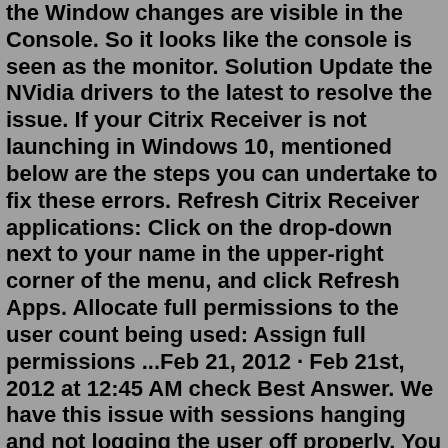the Window changes are visible in the Console. So it looks like the console is seen as the monitor. Solution Update the NVidia drivers to the latest to resolve the issue. If your Citrix Receiver is not launching in Windows 10, mentioned below are the steps you can undertake to fix these errors. Refresh Citrix Receiver applications: Click on the drop-down next to your name in the upper-right corner of the menu, and click Refresh Apps. Allocate full permissions to the user count being used: Assign full permissions ...Feb 21, 2012 · Feb 21st, 2012 at 12:45 AM check Best Answer. We have this issue with sessions hanging and not logging the user off properly. You may want to go into Terminal Services Manager and end/reset the user's session. This should reset his login and allow him to work normally. We have implemented a solution for this that after a set amount of time, the ... Download and install Workspace app: Download Citrix Workspace app 2206 (Current Release). On the VDA, as administrator, run the downloaded CitrixWorkspaceApp.exe. In the Welcome to Citrix